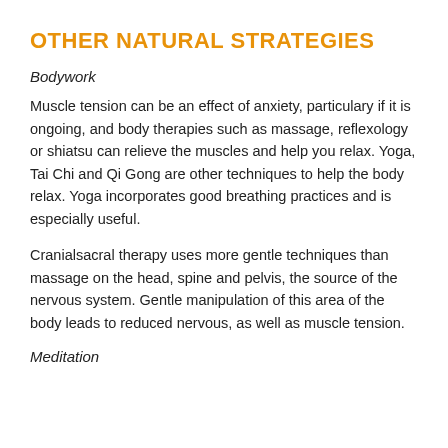OTHER NATURAL STRATEGIES
Bodywork
Muscle tension can be an effect of anxiety, particulary if it is ongoing, and body therapies such as massage, reflexology or shiatsu can relieve the muscles and help you relax. Yoga, Tai Chi and Qi Gong are other techniques to help the body relax. Yoga incorporates good breathing practices and is especially useful.
Cranialsacral therapy uses more gentle techniques than massage on the head, spine and pelvis, the source of the nervous system. Gentle manipulation of this area of the body leads to reduced nervous, as well as muscle tension.
Meditation